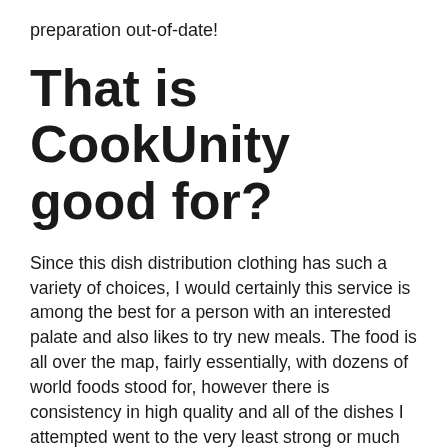preparation out-of-date!
That is CookUnity good for?
Since this dish distribution clothing has such a variety of choices, I would certainly this service is among the best for a person with an interested palate and also likes to try new meals. The food is all over the map, fairly essentially, with dozens of world foods stood for, however there is consistency in high quality and all of the dishes I attempted went to the very least strong or much better.
There are lots of healthy, low-carb, vegan as well as paleo options so this is an excellent